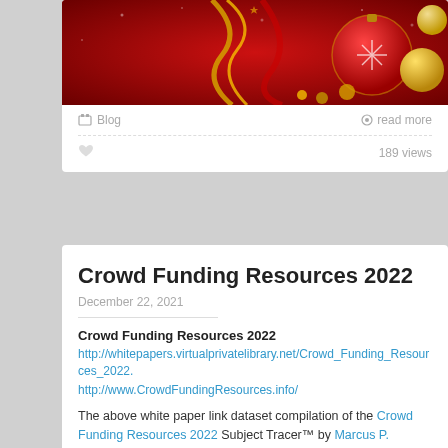[Figure (photo): Christmas decorative banner image with red and gold ornaments, ribbons, and holiday balls on a dark red background]
Blog   read more
189 views
Crowd Funding Resources 2022
December 22, 2021
Crowd Funding Resources 2022
http://whitepapers.virtualprivatelibrary.net/Crowd_Funding_Resources_2022.
http://www.CrowdFundingResources.info/
The above white paper link dataset compilation of the Crowd Funding Resources 2022 Subject Tracer™ by Marcus P. Zillman, M.S., A.M.H.A. is a freely available 20-page PDF document (534KB) listing the latest and greatest online resources and sites for crowd funding! Created December 22, 2021. Other white papers are available by